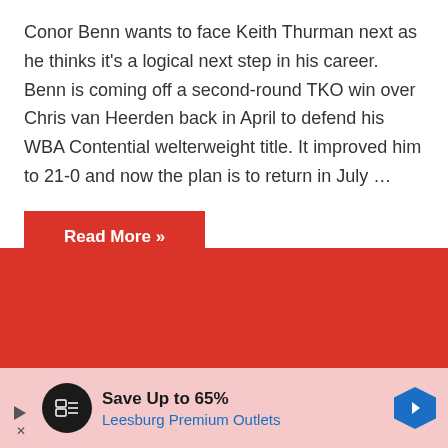Conor Benn wants to face Keith Thurman next as he thinks it's a logical next step in his career. Benn is coming off a second-round TKO win over Chris van Heerden back in April to defend his WBA Contential welterweight title. It improved him to 21-0 and now the plan is to return in July …
Read More »
[Figure (other): Red background section below article card]
[Figure (other): Advertisement banner: Save Up to 65% Leesburg Premium Outlets with play button, circular logo, and blue diamond arrow icon]